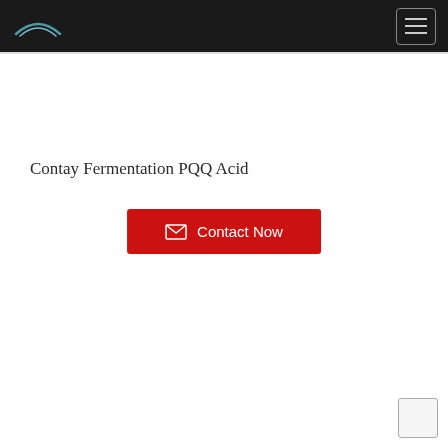Contay Fermentation PQQ Acid - Navigation bar with logo and hamburger menu
Contay Fermentation PQQ Acid
[Figure (other): Red contact button with envelope icon and text 'Contact Now']